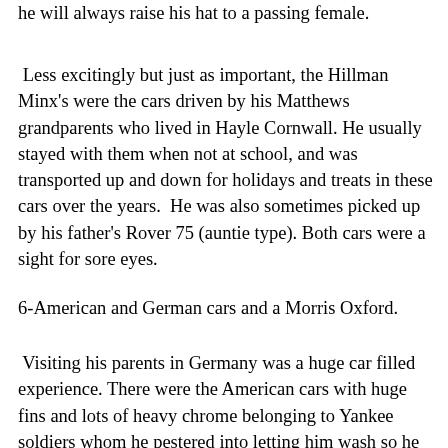he will always raise his hat to a passing female.
Less excitingly but just as important, the Hillman Minx's were the cars driven by his Matthews grandparents who lived in Hayle Cornwall. He usually stayed with them when not at school, and was transported up and down for holidays and treats in these cars over the years.  He was also sometimes picked up by his father's Rover 75 (auntie type). Both cars were a sight for sore eyes.
6-American and German cars and a Morris Oxford.
Visiting his parents in Germany was a huge car filled experience. There were the American cars with huge fins and lots of heavy chrome belonging to Yankee soldiers whom he pestered into letting him wash so he could indulge his fascination with them. Then there were the German cars